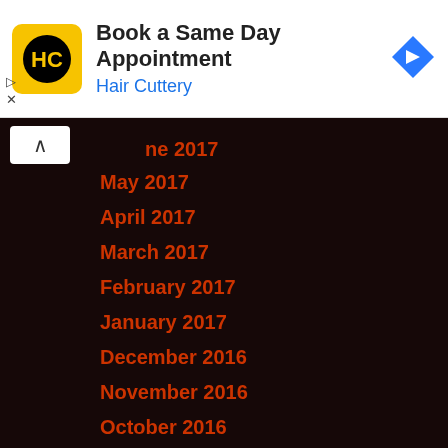[Figure (logo): Hair Cuttery HC logo with yellow background and black circular HC monogram]
Book a Same Day Appointment
Hair Cuttery
ne 2017
May 2017
April 2017
March 2017
February 2017
January 2017
December 2016
November 2016
October 2016
September 2016
August 2016
July 2016